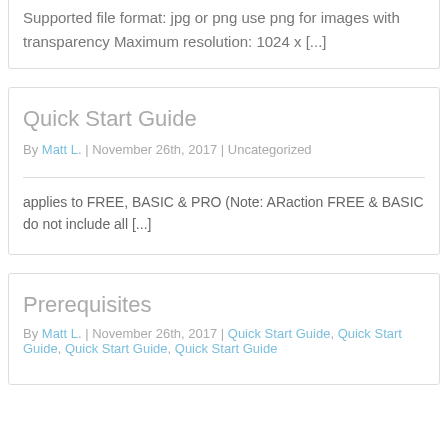Supported file format: jpg or png use png for images with transparency Maximum resolution: 1024 x [...]
Quick Start Guide
By Matt L. | November 26th, 2017 | Uncategorized
applies to FREE, BASIC & PRO (Note: ARaction FREE & BASIC do not include all [...]
Prerequisites
By Matt L. | November 26th, 2017 | Quick Start Guide, Quick Start Guide, Quick Start Guide, Quick Start Guide